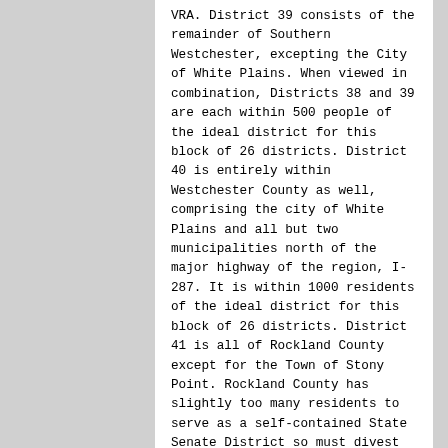VRA. District 39 consists of the remainder of Southern Westchester, excepting the City of White Plains. When viewed in combination, Districts 38 and 39 are each within 500 people of the ideal district for this block of 26 districts. District 40 is entirely within Westchester County as well, comprising the city of White Plains and all but two municipalities north of the major highway of the region, I-287. It is within 1000 residents of the ideal district for this block of 26 districts. District 41 is all of Rockland County except for the Town of Stony Point. Rockland County has slightly too many residents to serve as a self-contained State Senate District so must divest itself of its smallest municipality, which is on the northern border of the county. Mid-Hudson and Capital Region: Districts 42, 43, 44, 45, 46, and 48. District 42 is composed of the rural parts of